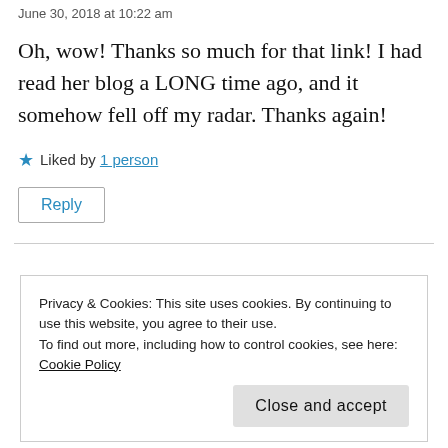June 30, 2018 at 10:22 am
Oh, wow! Thanks so much for that link! I had read her blog a LONG time ago, and it somehow fell off my radar. Thanks again!
★ Liked by 1 person
Reply
Privacy & Cookies: This site uses cookies. By continuing to use this website, you agree to their use.
To find out more, including how to control cookies, see here: Cookie Policy
Close and accept